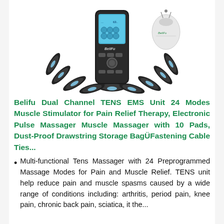[Figure (photo): Product photo of Belifu Dual Channel TENS EMS Unit device — a black handheld electronic device with a blue LCD screen, surrounded by multiple electrode pads fanned out around its base, and a small white drawstring storage bag with Belifu logo to the upper right.]
Belifu Dual Channel TENS EMS Unit 24 Modes Muscle Stimulator for Pain Relief Therapy, Electronic Pulse Massager Muscle Massager with 10 Pads, Dust-Proof Drawstring Storage BagÜFastening Cable Ties...
Multi-functional Tens Massager with 24 Preprogrammed Massage Modes for Pain and Muscle Relief. TENS unit help reduce pain and muscle spasms caused by a wide range of conditions including: arthritis, period pain, knee pain, chronic back pain, sciatica, it the...